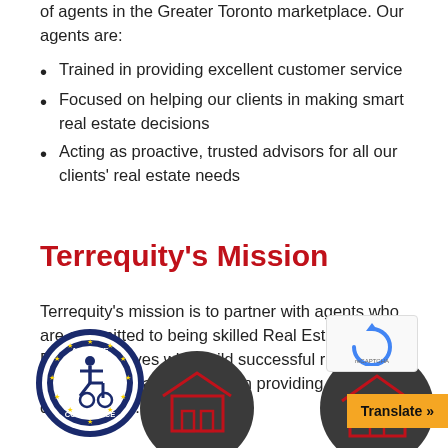of agents in the Greater Toronto marketplace. Our agents are:
Trained in providing excellent customer service
Focused on helping our clients in making smart real estate decisions
Acting as proactive, trusted advisors for all our clients' real estate needs
Terrequity's Mission
Terrequity's mission is to partner with agents who are committed to being skilled Real Estate Sales Representatives who build successful real estate practices and are focused on providing excellent client service.
[Figure (logo): ADA Site Compliance badge - circular seal with wheelchair accessibility icon]
[Figure (illustration): Dark circular icon with building/house outline]
[Figure (illustration): Dark circular icon with real estate symbol]
[Figure (other): reCAPTCHA widget]
Translate »